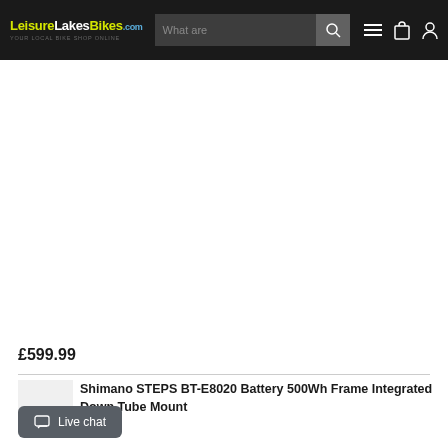LeisureLakesBikes.com — navigation header with search bar and icons
[Figure (photo): White/blank product image area for Shimano STEPS BT-E8020 Battery]
£599.99
Shimano STEPS BT-E8020 Battery 500Wh Frame Integrated Down Tube Mount
Live chat